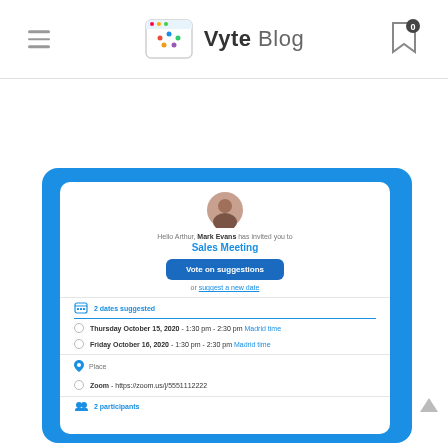Vyte Blog
[Figure (screenshot): Screenshot of a Vyte meeting invitation card showing a Sales Meeting invite from Mark Evans to Arthur, with vote on suggestions button, 2 dates suggested (Thursday October 15, 2020 and Friday October 16, 2020, Madrid time), Place section with Zoom link https://zoom.us/j/5551112222, and 2 participants.]